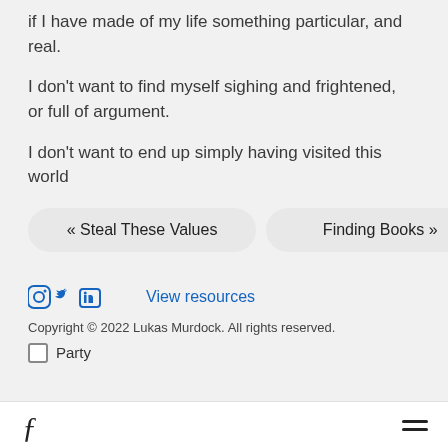if I have made of my life something particular, and real.
I don't want to find myself sighing and frightened, or full of argument.
I don't want to end up simply having visited this world
« Steal These Values
Finding Books »
[Figure (other): Social media icons: Instagram, Twitter, LinkedIn]
View resources
Copyright © 2022 Lukas Murdock. All rights reserved.
Party
Font icon and hamburger menu icon